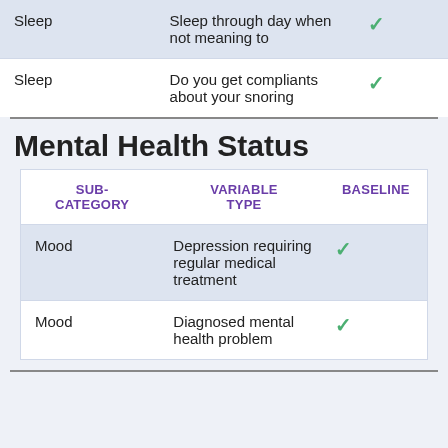| SUB-CATEGORY | VARIABLE TYPE | BASELINE |
| --- | --- | --- |
| Sleep | Sleep through day when not meaning to | ✓ |
| Sleep | Do you get compliants about your snoring | ✓ |
Mental Health Status
| SUB-CATEGORY | VARIABLE TYPE | BASELINE |
| --- | --- | --- |
| Mood | Depression requiring regular medical treatment | ✓ |
| Mood | Diagnosed mental health problem | ✓ |